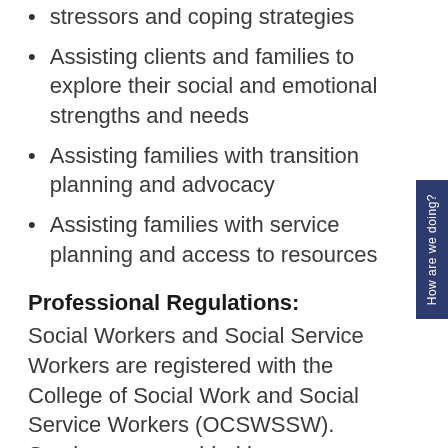stressors and coping strategies
Assisting clients and families to explore their social and emotional strengths and needs
Assisting families with transition planning and advocacy
Assisting families with service planning and access to resources
Professional Regulations:
Social Workers and Social Service Workers are registered with the College of Social Work and Social Service Workers (OCSWSSW). Services are provided in accordance with professional standards,